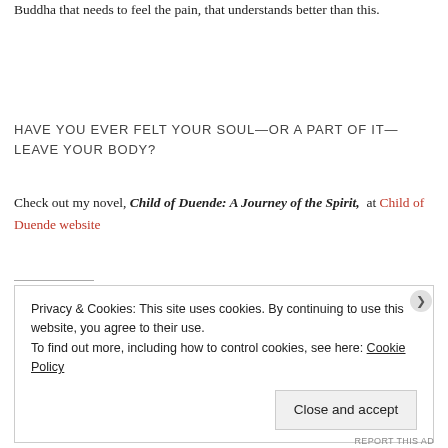Buddha that needs to feel the pain, that understands better than this.
HAVE YOU EVER FELT YOUR SOUL—OR A PART OF IT—LEAVE YOUR BODY?
Check out my novel, Child of Duende: A Journey of the Spirit, at Child of Duende website
Privacy & Cookies: This site uses cookies. By continuing to use this website, you agree to their use.
To find out more, including how to control cookies, see here: Cookie Policy
Close and accept
REPORT THIS AD